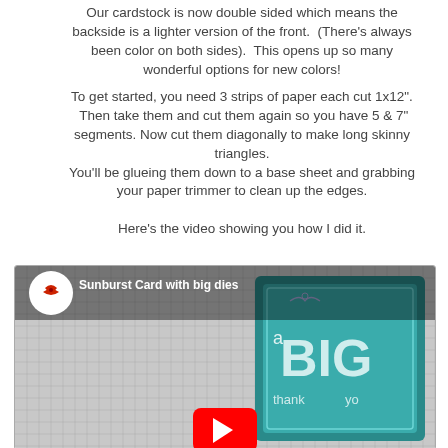Our cardstock is now double sided which means the backside is a lighter version of the front.  (There's always been color on both sides).  This opens up so many wonderful options for new colors!
To get started, you need 3 strips of paper each cut 1x12".  Then take them and cut them again so you have 5 & 7" segments. Now cut them diagonally to make long skinny triangles.
You'll be glueing them down to a base sheet and grabbing your paper trimmer to clean up the edges.
Here's the video showing you how I did it.
[Figure (screenshot): YouTube video thumbnail showing 'Sunburst Card with big dies' with a channel icon (butterfly logo), video title text, a grid paper background, and a card with 'a BIG thank you' text visible on the right side. A red YouTube play button is shown at the bottom center.]